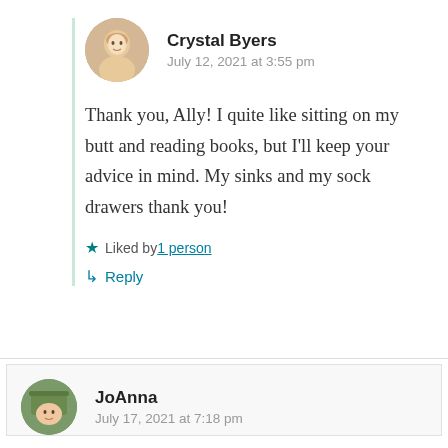Crystal Byers
July 12, 2021 at 3:55 pm
Thank you, Ally! I quite like sitting on my butt and reading books, but I'll keep your advice in mind. My sinks and my sock drawers thank you!
★ Liked by 1 person
↳ Reply
JoAnna
July 17, 2021 at 7:18 pm